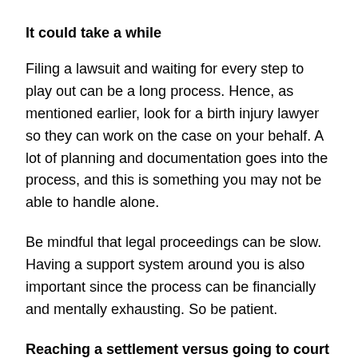It could take a while
Filing a lawsuit and waiting for every step to play out can be a long process. Hence, as mentioned earlier, look for a birth injury lawyer so they can work on the case on your behalf. A lot of planning and documentation goes into the process, and this is something you may not be able to handle alone.
Be mindful that legal proceedings can be slow. Having a support system around you is also important since the process can be financially and mentally exhausting. So be patient.
Reaching a settlement versus going to court